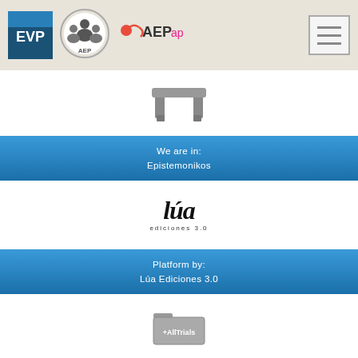[Figure (logo): Header with EVP logo, AEP circular logo, AEPap logo, and hamburger menu button]
[Figure (logo): Epistemonikos stone monument icon (gray)]
We are in:
Epistemonikos
[Figure (logo): Lúa ediciones 3.0 logo in bold italic serif font]
Platform by:
Lúa Ediciones 3.0
[Figure (logo): AllTrials folder icon in gray with '+AllTrials' text]
We adhere to the All Trials initiative
[Figure (logo): ACP logo with circular symbol and ACP text]
Associazione Culturale Pediatri